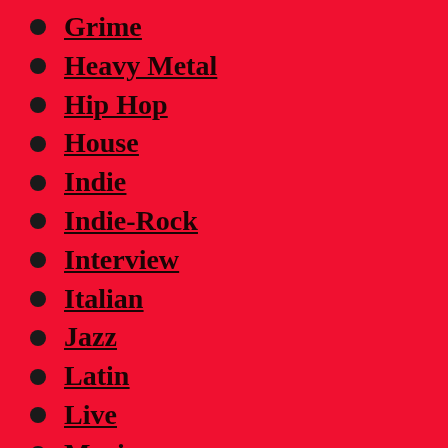Grime
Heavy Metal
Hip Hop
House
Indie
Indie-Rock
Interview
Italian
Jazz
Latin
Live
Music
Music News
News
Opera
Pop
Pop-Rock